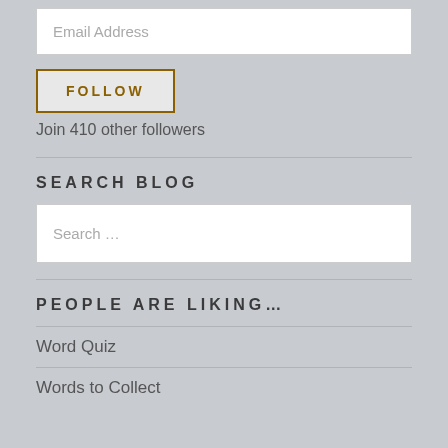Email Address
FOLLOW
Join 410 other followers
SEARCH BLOG
Search …
PEOPLE ARE LIKING…
Word Quiz
Words to Collect